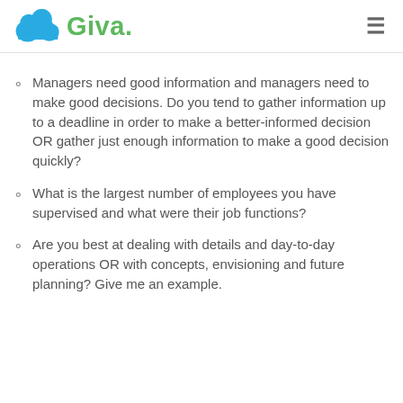Giva
Managers need good information and managers need to make good decisions. Do you tend to gather information up to a deadline in order to make a better-informed decision OR gather just enough information to make a good decision quickly?
What is the largest number of employees you have supervised and what were their job functions?
Are you best at dealing with details and day-to-day operations OR with concepts, envisioning and future planning? Give me an example.